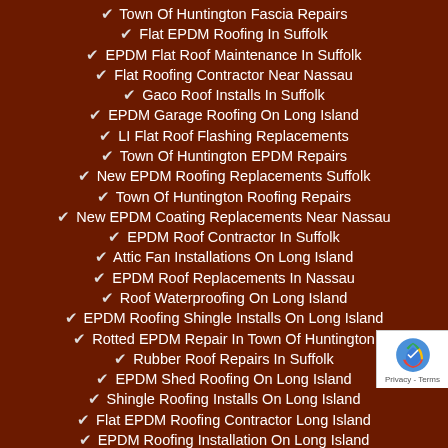Town Of Huntington Fascia Repairs
Flat EPDM Roofing In Suffolk
EPDM Flat Roof Maintenance In Suffolk
Flat Roofing Contractor Near Nassau
Gaco Roof Installs In Suffolk
EPDM Garage Roofing On Long Island
LI Flat Roof Flashing Replacements
Town Of Huntington EPDM Repairs
New EPDM Roofing Replacements Suffolk
Town Of Huntington Roofing Repairs
New EPDM Coating Replacements Near Nassau
EPDM Roof Contractor In Suffolk
Attic Fan Installations On Long Island
EPDM Roof Replacements In Nassau
Roof Waterproofing On Long Island
EPDM Roofing Shingle Installs On Long Island
Rotted EPDM Repair In Town Of Huntington
Rubber Roof Repairs In Suffolk
EPDM Shed Roofing On Long Island
Shingle Roofing Installs On Long Island
Flat EPDM Roofing Contractor Long Island
EPDM Roofing Installation On Long Island